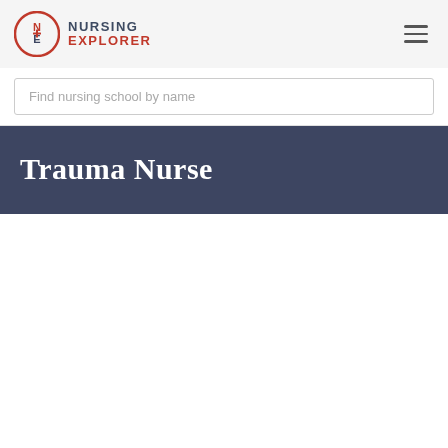NURSING EXPLORER
Find nursing school by name
Trauma Nurse